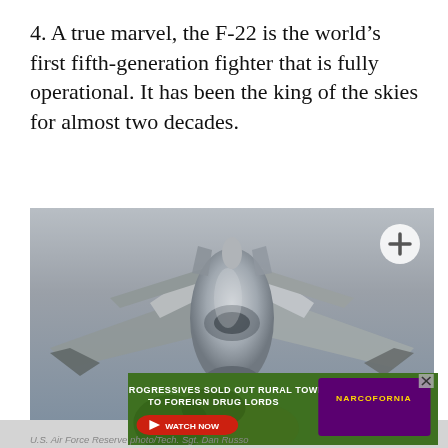4. A true marvel, the F-22 is the world's first fifth-generation fighter that is fully operational. It has been the king of the skies for almost two decades.
[Figure (photo): Front-facing aerial view of an F-22 Raptor stealth fighter jet against a gray sky background, with a circular plus (+) button overlay in the upper right]
[Figure (screenshot): Advertisement banner: 'HOW PROGRESSIVES SOLD OUT RURAL TOWNS TO FOREIGN DRUG LORDS' with a NARCOFORNIA logo and a red WATCH NOW button]
U.S. Air Force Reserve photo/Tech. Sgt. Dan Russo